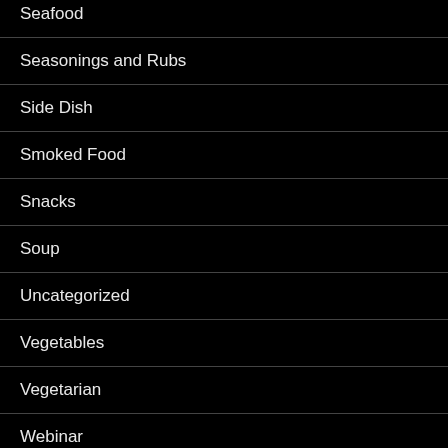Seafood
Seasonings and Rubs
Side Dish
Smoked Food
Snacks
Soup
Uncategorized
Vegetables
Vegetarian
Webinar
RECENT COMMENTS